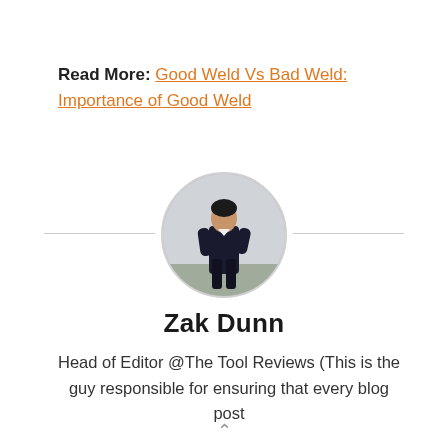Read More: Good Weld Vs Bad Weld: Importance of Good Weld
[Figure (photo): Circular profile photo of Zak Dunn, a man in a dark suit standing outdoors against a grey sky background]
Zak Dunn
Head of Editor @The Tool Reviews (This is the guy responsible for ensuring that every blog post